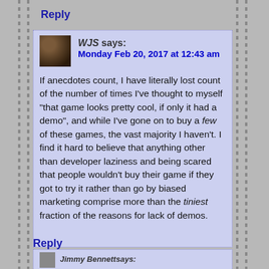Reply
WJS says: Monday Feb 20, 2017 at 12:43 am
If anecdotes count, I have literally lost count of the number of times I've thought to myself “that game looks pretty cool, if only it had a demo”, and while I've gone on to buy a few of these games, the vast majority I haven't. I find it hard to believe that anything other than developer laziness and being scared that people wouldn't buy their game if they got to try it rather than go by biased marketing comprise more than the tiniest fraction of the reasons for lack of demos.
Reply